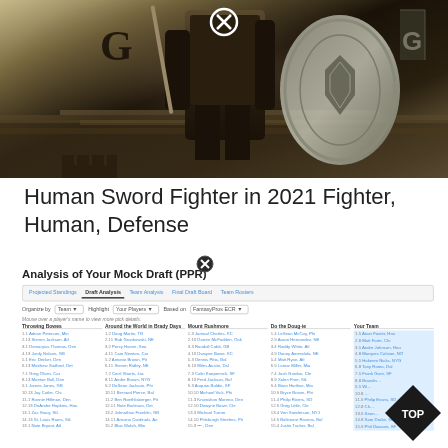[Figure (illustration): Fantasy artwork showing a human sword fighter/warrior in armor holding a large shield, dark atmospheric background with castle battlements icon and a 'G' letter logo in upper left corner]
Human Sword Fighter in 2021 Fighter, Human, Defense
Analysis of Your Mock Draft (PPR)
[Figure (screenshot): Mock draft analysis interface showing tabs: Projected Standings, Draft Analysis, Team Analysis, Final Draft Board, Team Rosters. Controls for Organize by Team, Highlight Your Players, Based on FantasyPros ECR. A table with columns: Throwing Bows, Around the World in Brady Days, Mount Rushmore, Do the Doug-ie, Your Team — each containing player picks with pick numbers and player names/teams.]